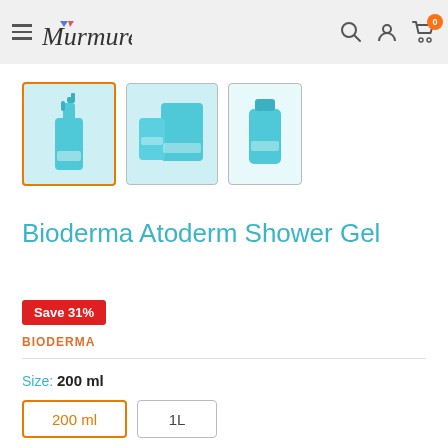Murmure.u — navigation header with hamburger menu, logo, search, account, and cart icons
[Figure (photo): Three product thumbnail images of Bioderma Atoderm Shower Gel; first thumbnail selected with orange border]
Bioderma Atoderm Shower Gel
Save 31%
BIODERMA
Size: 200 ml
200 ml | 1L